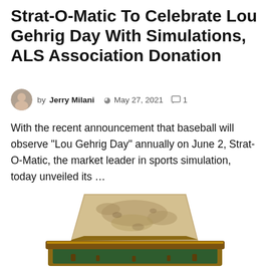Strat-O-Matic To Celebrate Lou Gehrig Day With Simulations, ALS Association Donation
by Jerry Milani  May 27, 2021  1
With the recent announcement that baseball will observe “Lou Gehrig Day” annually on June 2, Strat-O-Matic, the market leader in sports simulation, today unveiled its …
[Figure (photo): A vintage baseball home plate base displayed on a green felt-lined wooden frame/display case, photographed against a white background.]